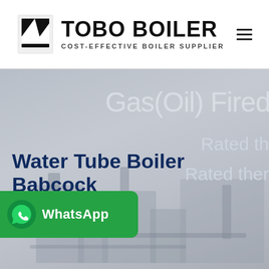TOBO BOILER — COST-EFFECTIVE BOILER SUPPLIER
[Figure (screenshot): Website screenshot showing Tobo Boiler header with logo (geometric black icon) and navigation hamburger menu on top right. Below is a hero banner with a grey industrial boiler machinery background. Partially visible text reads 'Gas(Oil) Fired', 'Rated th', 'Rated ther'. Overlaid bold dark blue heading reads 'Water Tube Boiler Babcock and Wilcox'. A green WhatsApp button is overlaid on bottom-left.]
Water Tube Boiler Babcock and Wilcox